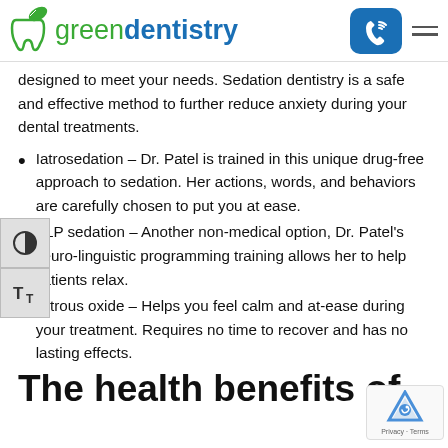greendentistry
designed to meet your needs. Sedation dentistry is a safe and effective method to further reduce anxiety during your dental treatments.
Iatrosedation – Dr. Patel is trained in this unique drug-free approach to sedation. Her actions, words, and behaviors are carefully chosen to put you at ease.
NLP sedation – Another non-medical option, Dr. Patel's neuro-linguistic programming training allows her to help patients relax.
Nitrous oxide – Helps you feel calm and at-ease during your treatment. Requires no time to recover and has no lasting effects.
The health benefits of